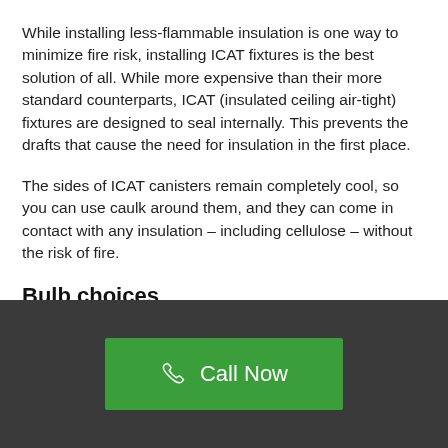While installing less-flammable insulation is one way to minimize fire risk, installing ICAT fixtures is the best solution of all. While more expensive than their more standard counterparts, ICAT (insulated ceiling air-tight) fixtures are designed to seal internally. This prevents the drafts that cause the need for insulation in the first place.
The sides of ICAT canisters remain completely cool, so you can use caulk around them, and they can come in contact with any insulation – including cellulose – without the risk of fire.
Bulb choices
[Figure (other): Dark grey footer bar with a green 'Call Now' button featuring a phone icon]